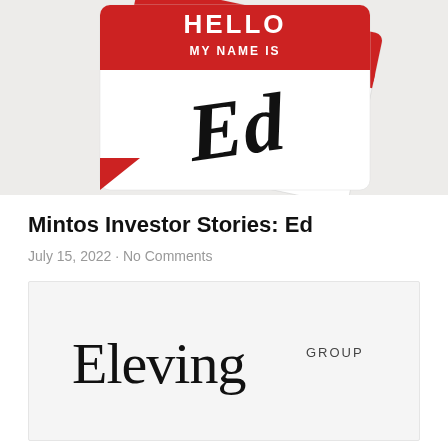[Figure (illustration): Two 'HELLO MY NAME IS' name tag stickers overlapping. The front one is white with a red header bar reading 'HELLO MY NAME IS' and has 'Ed' written in large cursive/script handwriting in the white area. The back tag is partially visible, also red and white. Both tags have a speech-bubble tail pointing downward-left. Background is light gray/beige.]
Mintos Investor Stories: Ed
July 15, 2022 · No Comments
[Figure (logo): Eleving Group logo. Large serif text 'Eleving' followed by small caps 'GROUP' to the upper right. Black text on light gray/white background.]